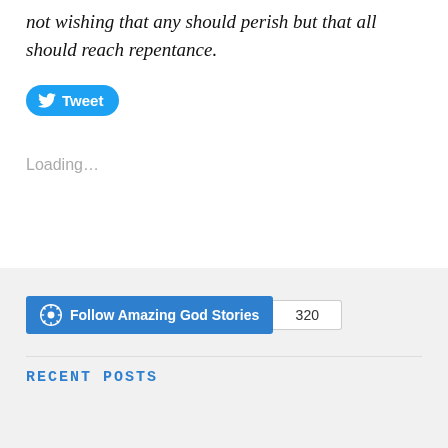not wishing that any should perish but that all should reach repentance.
[Figure (other): Twitter Tweet button (blue pill-shaped button with bird icon and 'Tweet' label)]
Loading…
[Figure (other): WordPress Follow button for 'Follow Amazing God Stories' with follower count 320]
RECENT POSTS